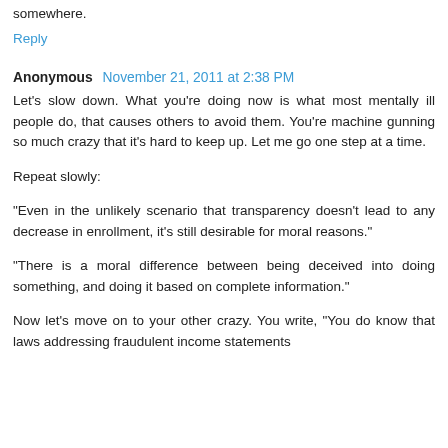somewhere.
Reply
Anonymous  November 21, 2011 at 2:38 PM
Let's slow down. What you're doing now is what most mentally ill people do, that causes others to avoid them. You're machine gunning so much crazy that it's hard to keep up. Let me go one step at a time.
Repeat slowly:
"Even in the unlikely scenario that transparency doesn't lead to any decrease in enrollment, it's still desirable for moral reasons."
"There is a moral difference between being deceived into doing something, and doing it based on complete information."
Now let's move on to your other crazy. You write, "You do know that laws addressing fraudulent income statements